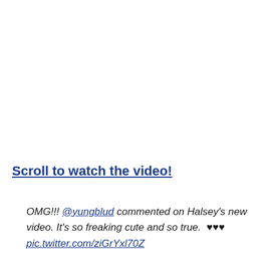Scroll to watch the video!
OMG!!! @yungblud commented on Halsey's new video. It's so freaking cute and so true. ♥♥♥ pic.twitter.com/ziGrYxl70Z